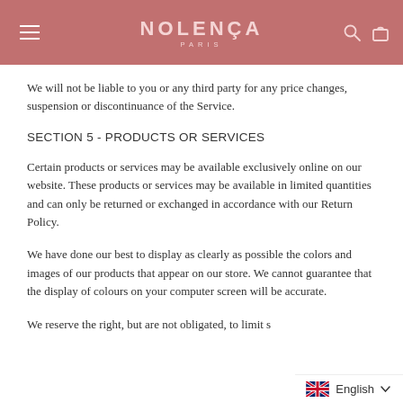NOLENÇA PARIS
We will not be liable to you or any third party for any price changes, suspension or discontinuance of the Service.
SECTION 5 - PRODUCTS OR SERVICES
Certain products or services may be available exclusively online on our website. These products or services may be available in limited quantities and can only be returned or exchanged in accordance with our Return Policy.
We have done our best to display as clearly as possible the colors and images of our products that appear on our store. We cannot guarantee that the display of colours on your computer screen will be accurate.
We reserve the right, but are not obligated, to limit s
English